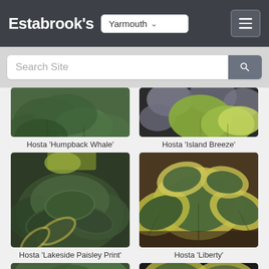Estabrook's — Yarmouth
Search Site
[Figure (photo): Hosta 'Humpback Whale' plant with large blue-green leaves, partially cropped at top]
Hosta 'Humpback Whale'
[Figure (photo): Hosta 'Island Breeze' plant with yellow-green leaves alongside purple flowers, partially cropped at top]
Hosta 'Island Breeze'
[Figure (photo): Hosta 'Lakeside Paisley Print' plant with variegated green and yellow leaves]
Hosta 'Lakeside Paisley Print'
[Figure (photo): Hosta 'Liberty' plant with large green and cream-yellow variegated leaves]
Hosta 'Liberty'
[Figure (photo): Hosta plant partially visible at bottom left]
[Figure (photo): Hosta plant partially visible at bottom right]